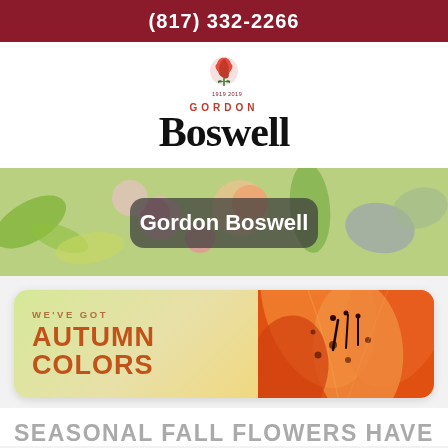(817) 332-2266
[Figure (logo): Gordon Boswell Flowers logo with '100 Years' badge and large red rose above the text 'GORDON Boswell' in serif font]
[Figure (photo): Close-up photo of colorful mixed flowers (pink, orange, green, purple) serving as a banner background with a dark rounded rectangle overlay reading 'Gordon Boswell' in white bold text]
[Figure (infographic): Autumn promotional banner split into two halves: left side with green/yellow gradient background reads 'WE'VE GOT AUTUMN COLORS' in bold orange letters; right side shows close-up photo of an orange lily flower]
SEASONAL FALL FLOWERS HAVE